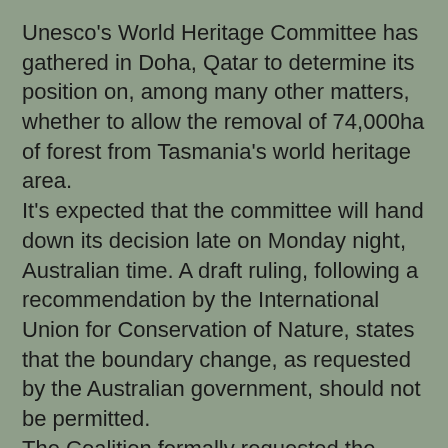Unesco's World Heritage Committee has gathered in Doha, Qatar to determine its position on, among many other matters, whether to allow the removal of 74,000ha of forest from Tasmania's world heritage area.
It's expected that the committee will hand down its decision late on Monday night, Australian time. A draft ruling, following a recommendation by the International Union for Conservation of Nature, states that the boundary change, as requested by the Australian government, should not be permitted.
The Coalition formally requested the world heritage area to be shrunk earlier this year, citing economic benefits from opening up more forestry to logging. The government has argued that 74,000ha of the 170,000ha nominated by the previous Labor administration for world heritage protection is degraded by previous logging and development and should be excised from the area.
But ministers have indicated they will abide by the World Heritage Committee decision, should it confirm it has...